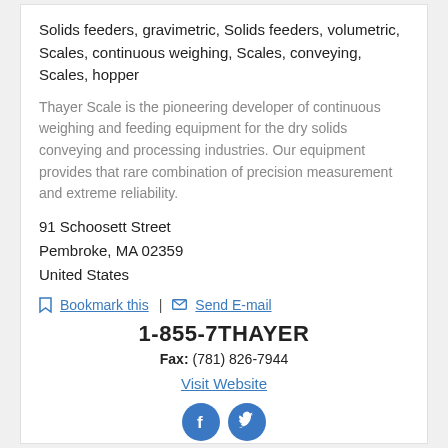Solids feeders, gravimetric, Solids feeders, volumetric, Scales, continuous weighing, Scales, conveying, Scales, hopper
Thayer Scale is the pioneering developer of continuous weighing and feeding equipment for the dry solids conveying and processing industries. Our equipment provides that rare combination of precision measurement and extreme reliability.
91 Schoosett Street
Pembroke, MA 02359
United States
Bookmark this | Send E-mail
1-855-7THAYER
Fax: (781) 826-7944
Visit Website
[Figure (illustration): Facebook and Twitter social media icon buttons (blue circles with white f and bird logos)]